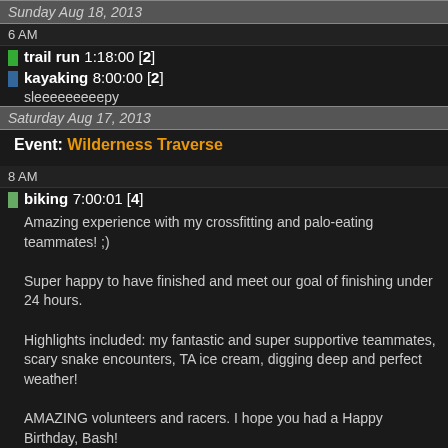Sunday Aug 18, 2013
6 AM
trail run 1:18:00 [2]
kayaking 8:00:00 [2]
sleeeeeeeeepy
Saturday Aug 17, 2013
Event: Wilderness Traverse
8 AM
biking 7:00:01 [4]
Amazing experience with my crossfitting and palo-eating teammates! ;)

Super happy to have finished and meet our goal of finishing under 24 hours.

Highlights included: my fantastic and super supportive teammates, scary snake encounters, TA ice cream, digging deep and perfect weather!

AMAZING volunteers and racers. I hope you had a Happy Birthday, Bash!
C • Congrats! 9
hiking 6:52:00 [2]
Thursday Aug 15, 2013
5 PM
Road run 30:00 [3]